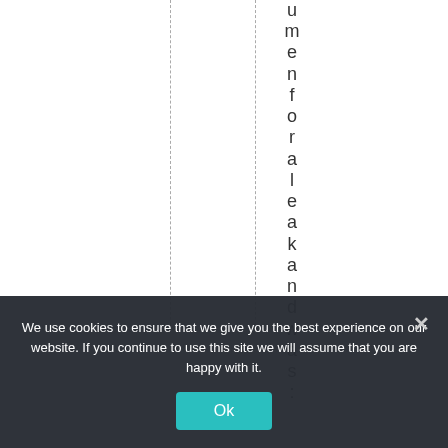umenforaleakandwas:
We use cookies to ensure that we give you the best experience on our website. If you continue to use this site we will assume that you are happy with it.